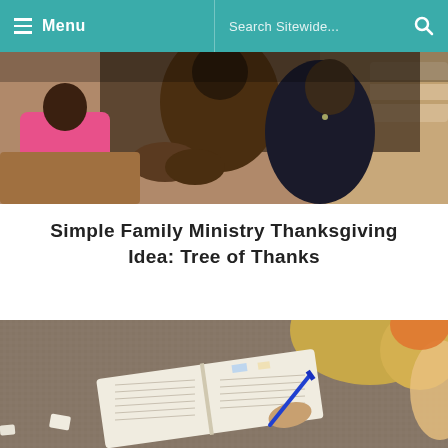Menu   Search Sitewide...
[Figure (photo): People sitting together in a group, appearing to be in conversation or a family/community gathering. A woman in a black jacket and a person in a brown jacket are visible, along with a child in a pink shirt.]
Simple Family Ministry Thanksgiving Idea: Tree of Thanks
[Figure (photo): A person (child or young person with blonde hair) lying on a patterned carpet, writing in or reading an open book/Bible with a blue pen.]